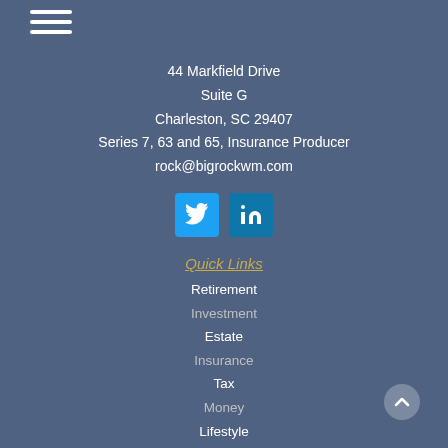[Figure (other): Hamburger menu icon (three horizontal white lines)]
44 Markfield Drive
Suite G
Charleston, SC 29407
Series 7, 63 and 65, Insurance Producer
rock@bigrockwm.com
[Figure (other): Twitter and LinkedIn social media icons]
Quick Links
Retirement
Investment
Estate
Insurance
Tax
Money
Lifestyle
All Articles
All Videos
All Calculators
All Presentations